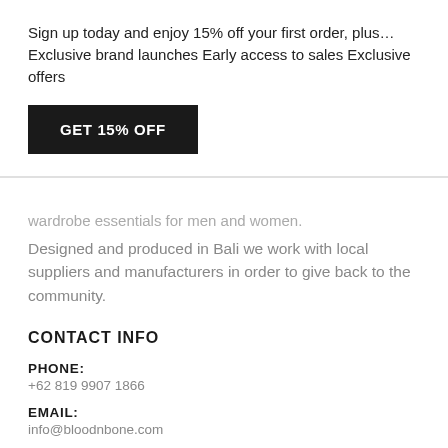Sign up today and enjoy 15% off your first order, plus… Exclusive brand launches Early access to sales Exclusive offers
GET 15% OFF
wardrobe essentials for men and women.
Designed and produced in Bali we work with local suppliers and manufacturers in order to give back to the community.
CONTACT INFO
PHONE:
+62 819 9907 1866
EMAIL:
info@bloodnbone.com
WORKING DAYS/HOURS:
Mon - Sun
9:00AM - 5:00PM